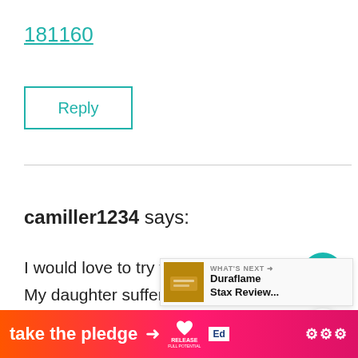181160
Reply
camiller1234 says:
I would love to try the baby soap. My daughter suffers from eczema caused by food and environmental allergens. I try to
[Figure (screenshot): What's Next banner showing Duraflame Stax Review...]
[Figure (screenshot): Bottom advertisement bar: take the pledge with RELEASE and Ed logos]